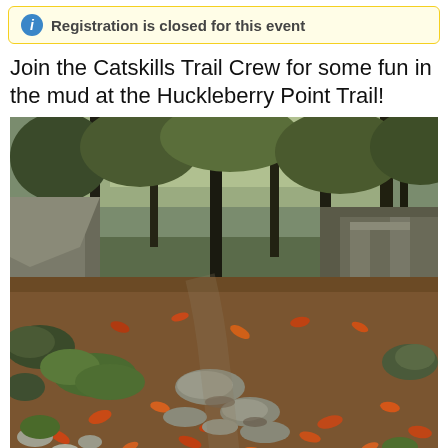Registration is closed for this event
Join the Catskills Trail Crew for some fun in the mud at the Huckleberry Point Trail!
[Figure (photo): A forest hiking trail covered with fallen autumn leaves and scattered flat rocks, surrounded by tall trees and mossy boulders on a cloudy day at Huckleberry Point Trail in the Catskills.]